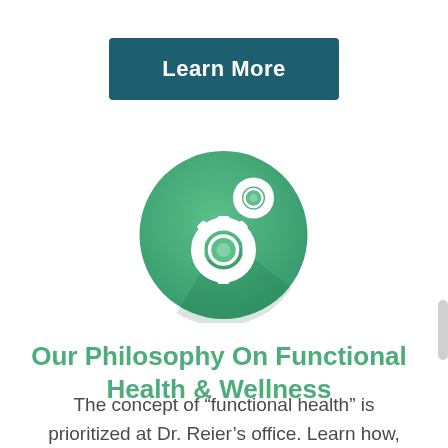[Figure (other): Dark teal/green rectangular button with white bold text reading 'Learn More']
[Figure (illustration): Green circular icon with two white interlocking gear/cog symbols with a subtle shadow, representing settings or functional health mechanics]
Our Philosophy On Functional Health & Wellness
The concept of “functional health” is prioritized at Dr. Reier’s office. Learn how, and why, we feel it is so important.